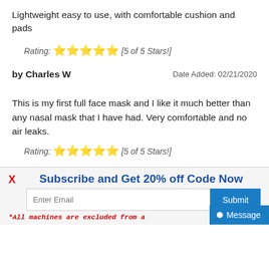Lightweight easy to use, with comfortable cushion and pads
Rating: ★★★★★ [5 of 5 Stars!]
by Charles W
Date Added: 02/21/2020
This is my first full face mask and I like it much better than any nasal mask that I have had. Very comfortable and no air leaks.
Rating: ★★★★★ [5 of 5 Stars!]
Subscribe and Get 20% off Code Now
*All machines are excluded from a... tion